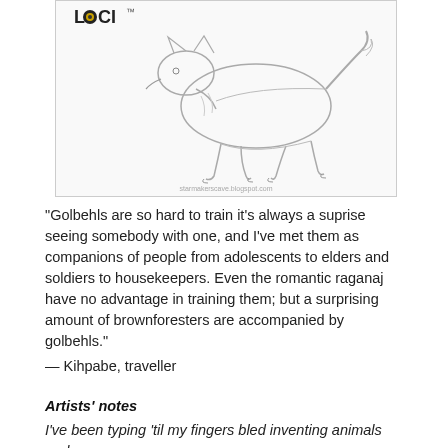[Figure (illustration): Pencil sketch illustration of a wolf-like creature (golbehl) walking, with a LOCI logo/text in the upper left corner. Watermark 'starmakerscave.blogspot.com' at the bottom of the image.]
"Golbehls are so hard to train it's always a suprise seeing somebody with one, and I've met them as companions of people from adolescents to elders and soldiers to housekeepers. Even the romantic raganaj have no advantage in training them; but a surprising amount of brownforesters are accompanied by golbehls."
— Kihpabe, traveller
Artists' notes
I've been typing 'til my fingers bled inventing animals and